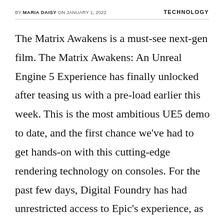BY MARIA DAISY ON JANUARY 1, 2022    TECHNOLOGY
The Matrix Awakens is a must-see next-gen film. The Matrix Awakens: An Unreal Engine 5 Experience has finally unlocked after teasing us with a pre-load earlier this week. This is the most ambitious UE5 demo to date, and the first chance we've had to get hands-on with this cutting-edge rendering technology on consoles. For the past few days, Digital Foundry has had unrestricted access to Epic's experience, as well as the opportunity to speak with key Epic executives. We'll have more to say about that soon, but in the meantime, here's a rundown of what the experience has to offer.